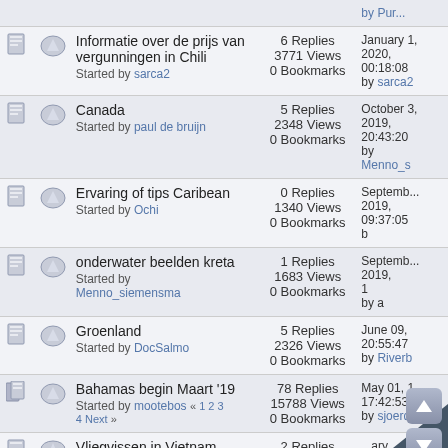|  |  | Topic | Stats | Last Post |
| --- | --- | --- | --- | --- |
|  |  | Informatie over de prijs van vergunningen in Chili
Started by sarca2 | 6 Replies
3771 Views
0 Bookmarks | January 2020, 00:18:08
by sarca2 |
|  |  | Canada
Started by paul de bruijn | 5 Replies
2348 Views
0 Bookmarks | October 2019, 20:43:20
by Menno_s |
|  |  | Ervaring of tips Caribean
Started by Ochi | 0 Replies
1340 Views
0 Bookmarks | September 2019, 09:37:05
by |
|  |  | onderwater beelden kreta
Started by Menno_siemensma | 1 Replies
1683 Views
0 Bookmarks | September 2019
1
by a |
|  |  | Groenland
Started by DocSalmo | 5 Replies
2326 Views
0 Bookmarks | June 09, 20:55:47
by Riverb |
|  |  | Bahamas begin Maart '19
Started by mootebos « 1 2 3 4 Next » | 78 Replies
15788 Views
0 Bookmarks | May 01, 17:42:53
by sjoerd |
|  |  | Vliegvissen in Vietnam
Started by | 2 Replies | ary 2019 |